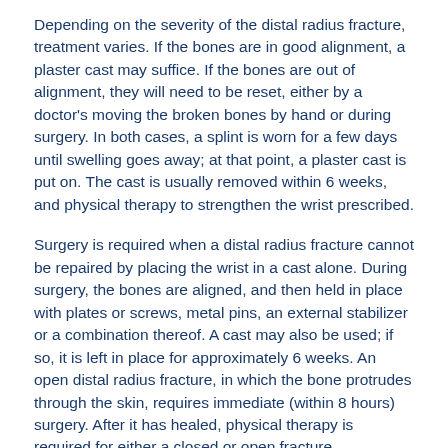Depending on the severity of the distal radius fracture, treatment varies. If the bones are in good alignment, a plaster cast may suffice. If the bones are out of alignment, they will need to be reset, either by a doctor's moving the broken bones by hand or during surgery. In both cases, a splint is worn for a few days until swelling goes away; at that point, a plaster cast is put on. The cast is usually removed within 6 weeks, and physical therapy to strengthen the wrist prescribed.
Surgery is required when a distal radius fracture cannot be repaired by placing the wrist in a cast alone. During surgery, the bones are aligned, and then held in place with plates or screws, metal pins, an external stabilizer or a combination thereof. A cast may also be used; if so, it is left in place for approximately 6 weeks. An open distal radius fracture, in which the bone protrudes through the skin, requires immediate (within 8 hours) surgery. After it has healed, physical therapy is required for either a closed or open fracture.
Additional Resources